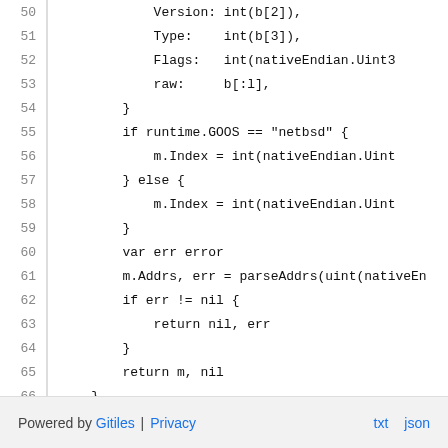[Figure (screenshot): Source code viewer showing Go code lines 50-66 with line numbers and syntax]
Powered by Gitiles | Privacy   txt  json